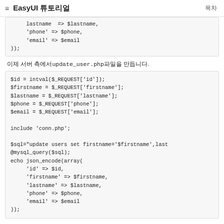≡  EasyUI 튜토리얼   목차
lastname  => $lastname,
     'phone' => $phone,
     'email' => $email
));
이제 서버 측에서update_user.php파일을 만듭니다.
$id = intval($_REQUEST['id']);
$firstname = $_REQUEST['firstname'];
$lastname = $_REQUEST['lastname'];
$phone = $_REQUEST['phone'];
$email = $_REQUEST['email'];

include 'conn.php';

$sql="update users set firstname='$firstname',last
@mysql_query($sql);
echo json_encode(array(
     'id' => $id,
     'firstname' => $firstname,
     'lastname' => $lastname,
     'phone' => $phone,
     'email' => $email
));